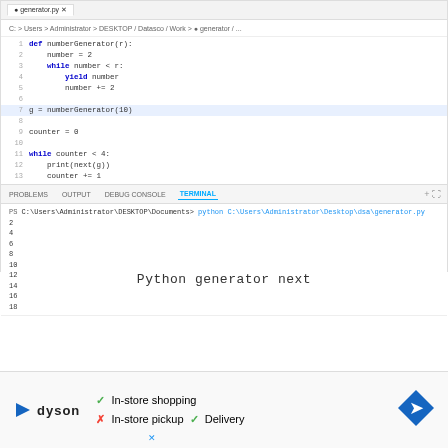[Figure (screenshot): IDE editor showing Python generator code with tab bar, breadcrumb path, line numbers, and code for a numberGenerator function and while loop using next()]
Python generator next
[Figure (screenshot): Advertisement banner for Dyson showing In-store shopping (checkmark), In-store pickup (X), Delivery (checkmark) with navigation icon]